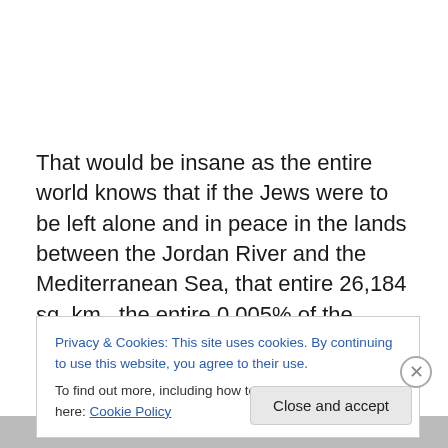That would be insane as the entire world knows that if the Jews were to be left alone and in peace in the lands between the Jordan River and the Mediterranean Sea, that entire 26,184 sq. km., the entire 0.005% of the Earth's surface, then left to their own devices the Jews of Israel, a whole 0.1% of the World's population, allowed freedom to
Privacy & Cookies: This site uses cookies. By continuing to use this website, you agree to their use.
To find out more, including how to control cookies, see here: Cookie Policy
Close and accept